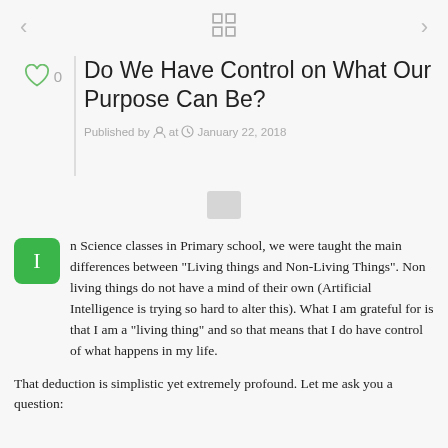< [grid icon] >
Do We Have Control on What Our Purpose Can Be?
Published by  at  January 22, 2018
[Figure (illustration): Small gray rectangle placeholder image in center]
n Science classes in Primary school, we were taught the main differences between "Living things and Non-Living Things". Non living things do not have a mind of their own (Artificial Intelligence is trying so hard to alter this). What I am grateful for is that I am a "living thing" and so that means that I do have control of what happens in my life.
That deduction is simplistic yet extremely profound. Let me ask you a question: